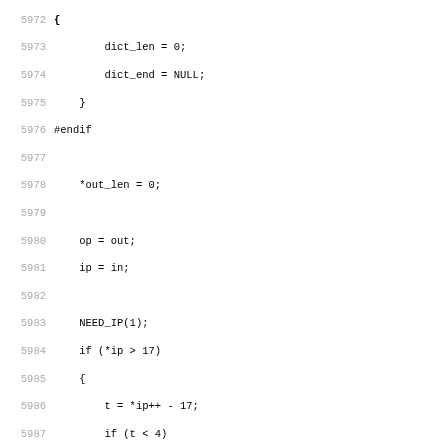Source code listing, lines 5972-6003
5972: {
5973:     dict_len = 0;
5974:     dict_end = NULL;
5975: }
5976: #endif
5977:
5978:     *out_len = 0;
5979:
5980:     op = out;
5981:     ip = in;
5982:
5983:     NEED_IP(1);
5984:     if (*ip > 17)
5985:     {
5986:         t = *ip++ - 17;
5987:         if (t < 4)
5988:             goto match_next;
5989:         assert(t > 0); NEED_OP(t); NEED_IP(t+3);
5990:         do *op++ = *ip++; while (--t > 0);
5991:         goto first_literal_run;
5992:     }
5993:
5994:     for (;;)
5995:     {
5996:         NEED_IP(3);
5997:         t = *ip++;
5998:         if (t >= 16)
5999:             goto match;
6000:         if (t == 0)
6001:         {
6002:             while (*ip == 0)
6003:             {